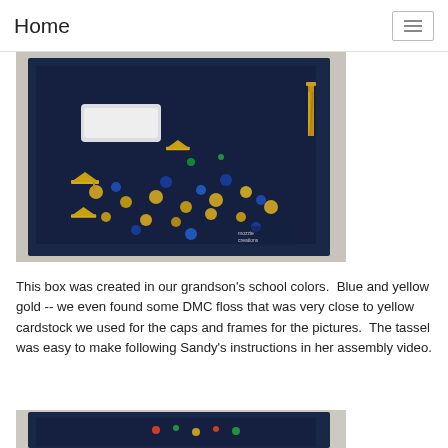Home
[Figure (photo): A dark navy blue shadow box filled with yellow/gold graduation caps, sequins in blue and yellow, confetti, and a gold tassel. Graduation themed craft project showing school colors blue and yellow gold.]
This box was created in our grandson's school colors.  Blue and yellow gold -- we even found some DMC floss that was very close to yellow cardstock we used for the caps and frames for the pictures.  The tassel was easy to make following Sandy's instructions in her assembly video.
[Figure (photo): Bottom portion of a dark navy blue shadow box/craft project with colored pins or decorations visible.]